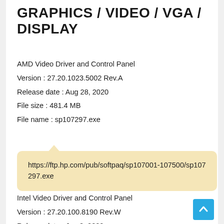GRAPHICS / VIDEO / VGA / DISPLAY
AMD Video Driver and Control Panel
Version : 27.20.1023.5002 Rev.A
Release date : Aug 28, 2020
File size : 481.4 MB
File name : sp107297.exe
https://ftp.hp.com/pub/softpaq/sp107001-107500/sp107297.exe
Intel Video Driver and Control Panel
Version : 27.20.100.8190 Rev.W
Release date : Jun 8, 2020
File size : 378.0 MB
File name : sp105567.exe